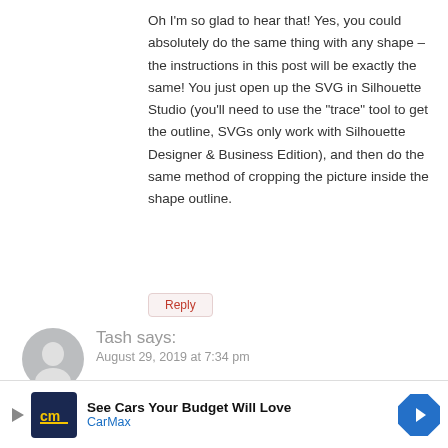Oh I'm so glad to hear that! Yes, you could absolutely do the same thing with any shape – the instructions in this post will be exactly the same! You just open up the SVG in Silhouette Studio (you'll need to use the "trace" tool to get the outline, SVGs only work with Silhouette Designer & Business Edition), and then do the same method of cropping the picture inside the shape outline.
Reply
Tash says:
August 29, 2019 at 7:34 pm
Hi Meredith,
i'm also using a Mac and when i click on the link to
[Figure (infographic): CarMax advertisement banner: CM logo on dark blue background, text 'See Cars Your Budget Will Love' and 'CarMax', with blue diamond arrow icon. Play button arrow on left side, X close button on right.]